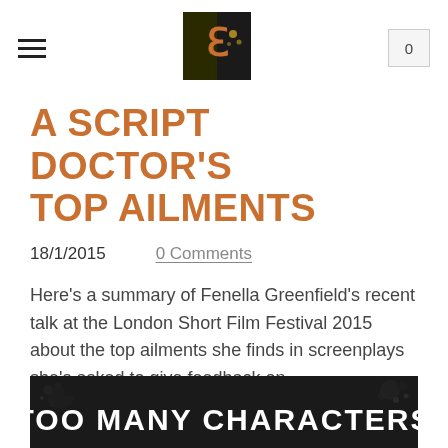A SCRIPT DOCTOR'S TOP AILMENTS
18/1/2015    0 Comments
Here's a summary of Fenella Greenfield's recent talk at the London Short Film Festival 2015 about the top ailments she finds in screenplays she's asked to give feedback on.
[Figure (photo): Dark image with text 'TOO MANY CHARACTERS' and ink splatter effects]